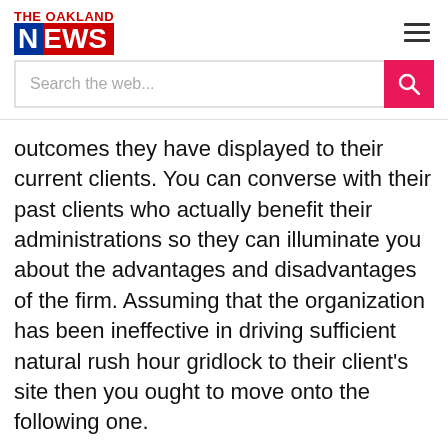THE OAKLAND NEWS
outcomes they have displayed to their current clients. You can converse with their past clients who actually benefit their administrations so they can illuminate you about the advantages and disadvantages of the firm. Assuming that the organization has been ineffective in driving sufficient natural rush hour gridlock to their client's site then you ought to move onto the following one.
The last however the main standards that ought to decide are the rundown of administrations they give and the cost to their administrations. They ought to have the option to drive steady natural traffic to your site through web index results and how much traffic ought to be sufficient to create the necessary measure of incomes from your site